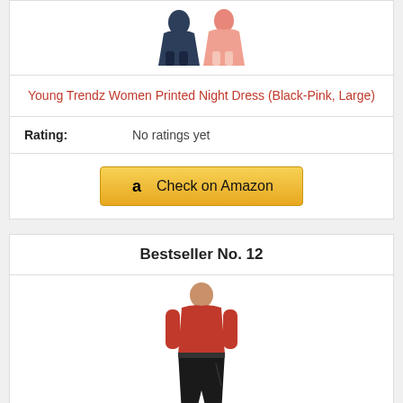[Figure (photo): Product photo of women's printed night dress in black and pink colors]
Young Trendz Women Printed Night Dress (Black-Pink, Large)
Rating: No ratings yet
[Figure (other): Check on Amazon button with Amazon logo]
Bestseller No. 12
[Figure (photo): Product photo of a person wearing a red top and black jogger pants with white shoes]